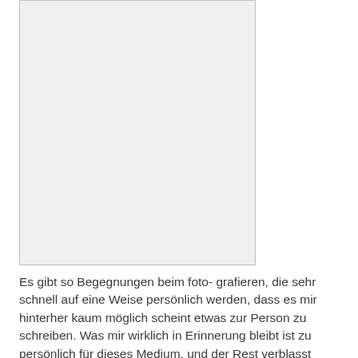[Figure (photo): A photograph placeholder with light gray background and thin border]
Es gibt so Begegnungen beim foto- grafieren, die sehr schnell auf eine Weise persönlich werden, dass es mir hinterher kaum möglich scheint etwas zur Person zu schreiben. Was mir wirklich in Erinnerung bleibt ist zu persönlich für dieses Medium, und der Rest verblasst irgendwie dahinter. So jedenfalls geht es mir mit dieser